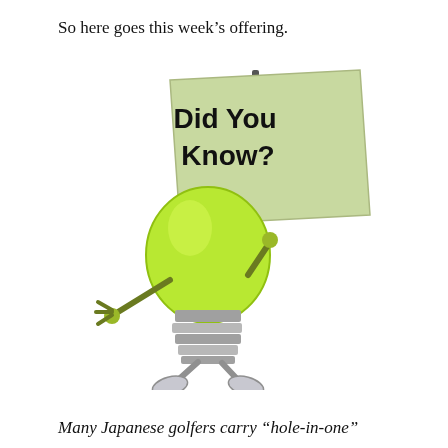So here goes this week’s offering.
[Figure (illustration): A cartoon anthropomorphic green light bulb character with metal arms, hands, and feet, holding up a green sign that reads 'Did You Know?' in bold black text.]
Many Japanese golfers carry “hole-in-one”